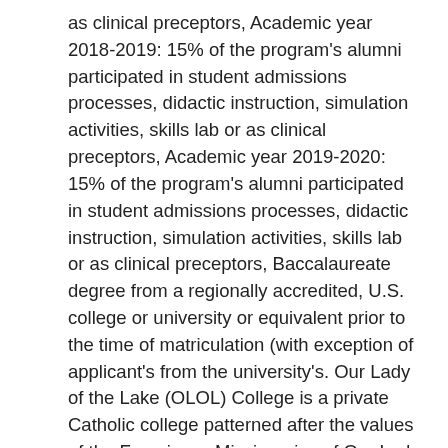as clinical preceptors, Academic year 2018-2019: 15% of the program's alumni participated in student admissions processes, didactic instruction, simulation activities, skills lab or as clinical preceptors, Academic year 2019-2020: 15% of the program's alumni participated in student admissions processes, didactic instruction, simulation activities, skills lab or as clinical preceptors, Baccalaureate degree from a regionally accredited, U.S. college or university or equivalent prior to the time of matriculation (with exception of applicant's from the university's. Our Lady of the Lake (OLOL) College is a private Catholic college patterned after the values of the Franciscan Missionaries of Our Lady and is associated with Our Lady of the Lake Regional Medical Center. The competitive candidate has a âBâ or better in all defined pre-requisite course work. Our Lady of